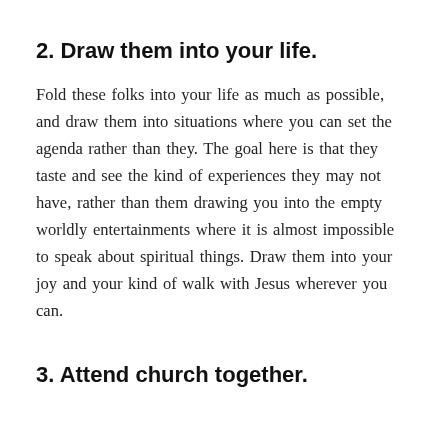2. Draw them into your life.
Fold these folks into your life as much as possible, and draw them into situations where you can set the agenda rather than they. The goal here is that they taste and see the kind of experiences they may not have, rather than them drawing you into the empty worldly entertainments where it is almost impossible to speak about spiritual things. Draw them into your joy and your kind of walk with Jesus wherever you can.
3. Attend church together.